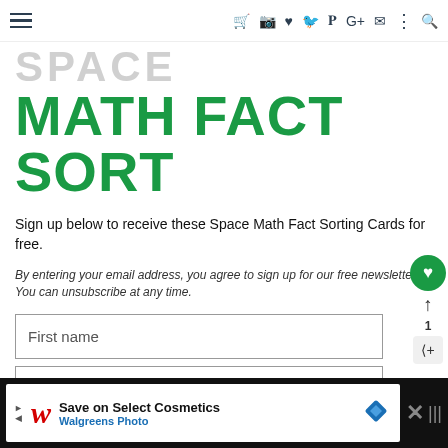Navigation bar with hamburger menu and social/utility icons
SPACE MATH FACT SORT
Sign up below to receive these Space Math Fact Sorting Cards for free.
By entering your email address, you agree to sign up for our free newsletter. You can unsubscribe at any time.
First name (input field)
Second input field (partially visible)
Ad: Save on Select Cosmetics - Walgreens Photo